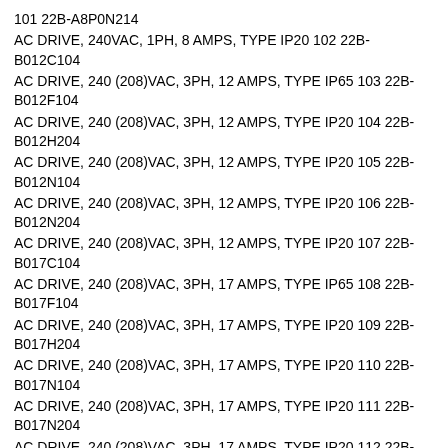101 22B-A8P0N214
AC DRIVE, 240VAC, 1PH, 8 AMPS, TYPE IP20 102 22B-B012C104
AC DRIVE, 240 (208)VAC, 3PH, 12 AMPS, TYPE IP65 103 22B-B012F104
AC DRIVE, 240 (208)VAC, 3PH, 12 AMPS, TYPE IP20 104 22B-B012H204
AC DRIVE, 240 (208)VAC, 3PH, 12 AMPS, TYPE IP20 105 22B-B012N104
AC DRIVE, 240 (208)VAC, 3PH, 12 AMPS, TYPE IP20 106 22B-B012N204
AC DRIVE, 240 (208)VAC, 3PH, 12 AMPS, TYPE IP20 107 22B-B017C104
AC DRIVE, 240 (208)VAC, 3PH, 17 AMPS, TYPE IP65 108 22B-B017F104
AC DRIVE, 240 (208)VAC, 3PH, 17 AMPS, TYPE IP20 109 22B-B017H204
AC DRIVE, 240 (208)VAC, 3PH, 17 AMPS, TYPE IP20 110 22B-B017N104
AC DRIVE, 240 (208)VAC, 3PH, 17 AMPS, TYPE IP20 111 22B-B017N204
AC DRIVE, 240 (208)VAC, 3PH, 17 AMPS, TYPE IP20 112 22B-B024F104
AC DRIVE, 240 (208)VAC, 3PH, 24 AMPS, TYPE IP20 113 22B-B024H204